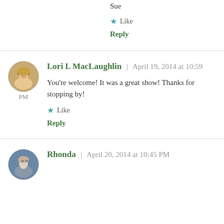Sue
★ Like
Reply
Lori L MacLaughlin | April 19, 2014 at 10:59 PM
You're welcome! It was a great show! Thanks for stopping by!
★ Like
Reply
Rhonda | April 20, 2014 at 10:45 PM